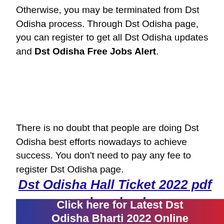Otherwise, you may be terminated from Dst Odisha process. Through Dst Odisha page, you can register to get all Dst Odisha updates and Dst Odisha Free Jobs Alert.
There is no doubt that people are doing Dst Odisha best efforts nowadays to achieve success. You don't need to pay any fee to register Dst Odisha page.
Dst Odisha Hall Ticket 2022 pdf download
[Figure (infographic): Blue to red gradient banner with white bold text reading 'Click here for Latest Dst Odisha Bharti 2022 Online']